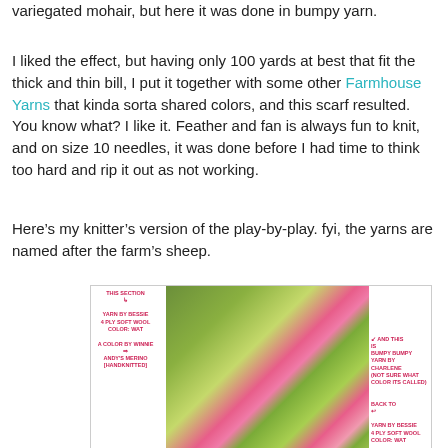variegated mohair, but here it was done in bumpy yarn.
I liked the effect, but having only 100 yards at best that fit the thick and thin bill, I put it together with some other Farmhouse Yarns that kinda sorta shared colors, and this scarf resulted. You know what? I like it. Feather and fan is always fun to knit, and on size 10 needles, it was done before I had time to think too hard and rip it out as not working.
Here’s my knitter’s version of the play-by-play. fyi, the yarns are named after the farm’s sheep.
[Figure (photo): Close-up photo of a knitted scarf with pink and green variegated yarn, annotated with labels identifying yarn sections: 'This Section - Yarn by Bessie 4 ply soft wool color: wat', 'A color by Winnie => Andy's Merino [handknitted]', 'And this is bumpy bumpy yarn by Charlene (not sure what color it's called)', 'Back to <- Yarn by Bessie 4 ply soft wool color: wat']